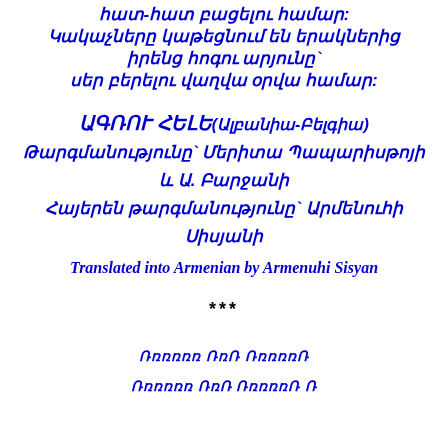հատ-հատ բացելու համար:
Կակաչները կաթեցնում են երակներից իրենց հոգու արյունը` սեր բերելու վաղվա օրվա համար:
ԱԳՌՈՒ ՀԵԼԵ (Ալբանիա-Բելգիա) Թարգմանությունը` Մերիտա Պապարիսթոյի և Ա. Բարջանի Հայերեն թարգմանությունը` Արմենուհի Սիսյանի
Translated into Armenian by Armenuhi Sisyan
***
Ռռռռռռ ՌռՌ ՌռռռռՌ
Ռռռռռռ ՌռՌ ՌռռռռՌ Ռ